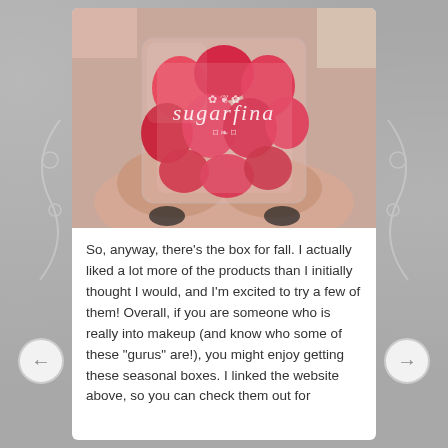[Figure (photo): A hand holding a clear plastic bag of red/pink gummy candies with the 'sugarfina' brand logo printed on the packaging.]
So, anyway, there's the box for fall. I actually liked a lot more of the products than I initially thought I would, and I'm excited to try a few of them! Overall, if you are someone who is really into makeup (and know who some of these "gurus" are!), you might enjoy getting these seasonal boxes. I linked the website above, so you can check them out for